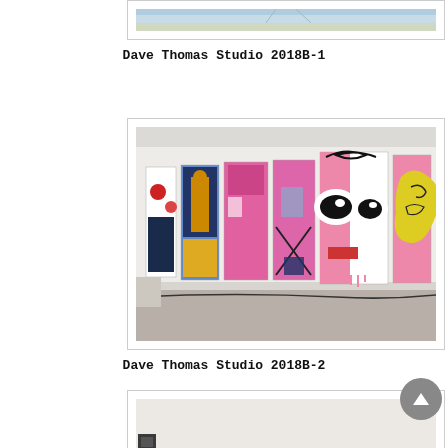[Figure (photo): Partial view of Dave Thomas Studio 2018B-1 artwork photo, top portion visible showing sky/outdoor scene]
Dave Thomas Studio 2018B-1
[Figure (photo): Gallery interior showing a row of colorful contemporary paintings hung on a white wall. Paintings feature abstract and figurative elements in pink, blue, yellow, and black. Large face-like painting visible on right side.]
Dave Thomas Studio 2018B-2
[Figure (photo): Partial view of third studio photo, mostly white/light toned, beginning to appear at bottom of page]